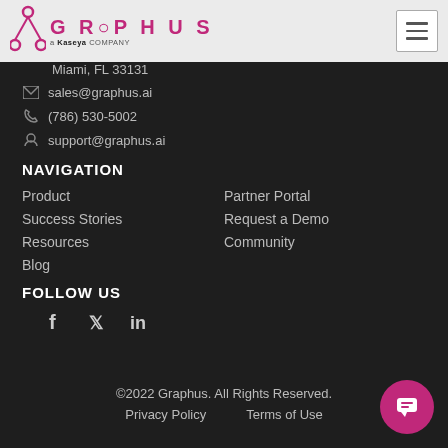GRAPHUS a Kaseya company
Miami, FL 33131
sales@graphus.ai
(786) 530-5002
support@graphus.ai
NAVIGATION
Product
Partner Portal
Success Stories
Request a Demo
Resources
Community
Blog
FOLLOW US
[Figure (other): Social media icons: Facebook, Twitter, LinkedIn]
©2022 Graphus. All Rights Reserved.
Privacy Policy   Terms of Use